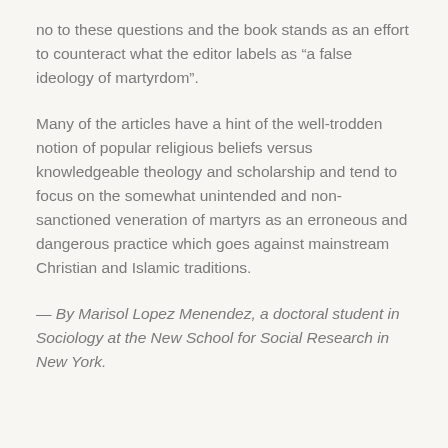no to these questions and the book stands as an effort to counteract what the editor labels as “a false ideology of martyrdom”.
Many of the articles have a hint of the well-trodden notion of popular religious beliefs versus knowledgeable theology and scholarship and tend to focus on the somewhat unintended and non-sanctioned veneration of martyrs as an erroneous and dangerous practice which goes against mainstream Christian and Islamic traditions.
— By Marisol Lopez Menendez, a doctoral student in Sociology at the New School for Social Research in New York.